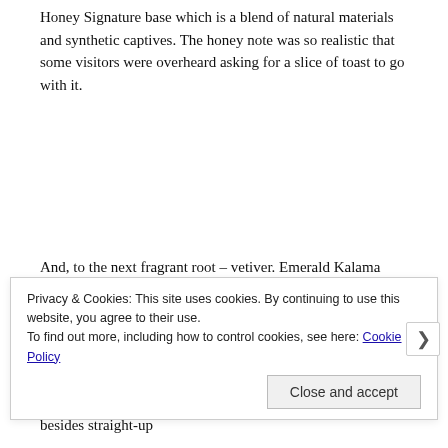Honey Signature base which is a blend of natural materials and synthetic captives. The honey note was so realistic that some visitors were overheard asking for a slice of toast to go with it.
And, to the next fragrant root – vetiver. Emerald Kalama Chemical showed us Azuril, Osyrol and Vetimoss (there is a clue in the molecule names to which one went into the vetiver accord) and we smelled demo formulas including blackwood and fantasy citrus. Vetiver is another one of my absolute favourite smells and I'd love to get a chance to experiment with vetimoss – there were many nuances besides straight-up
Privacy & Cookies: This site uses cookies. By continuing to use this website, you agree to their use.
To find out more, including how to control cookies, see here: Cookie Policy